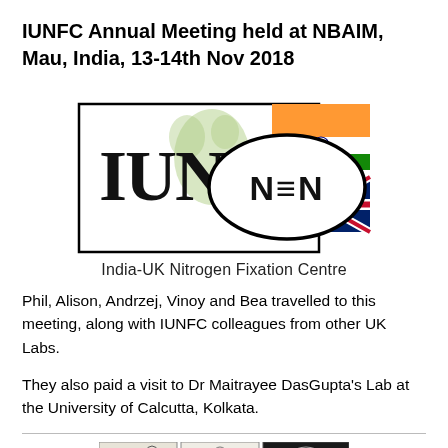IUNFC Annual Meeting held at NBAIM, Mau, India, 13-14th Nov 2018
[Figure (logo): IUNFC (India-UK Nitrogen Fixation Centre) logo: a rectangle containing the text 'IUNFC' with green footprint marks, overlaid with an oval containing 'N≡N', and the Indian and UK flags in the top-right corner.]
India-UK Nitrogen Fixation Centre
Phil, Alison, Andrzej, Vinoy and Bea travelled to this meeting, along with IUNFC colleagues from other UK Labs.
They also paid a visit to Dr Maitrayee DasGupta's Lab at the University of Calcutta, Kolkata.
[Figure (photo): Three small images at the bottom of the page showing plant/nature illustrations and a dark circular emblem.]